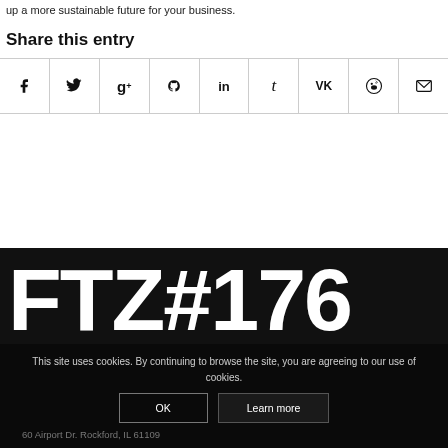up a more sustainable future for your business.
Share this entry
[Figure (infographic): Social sharing icons row: Facebook, Twitter, Google+, Pinterest, LinkedIn, Tumblr, VK, Reddit, Email]
[Figure (logo): FTZ#176 large white bold text on black background]
This site uses cookies. By continuing to browse the site, you are agreeing to our use of cookies.
OK    Learn more
60 Airport Dr. Rockford, IL 61109